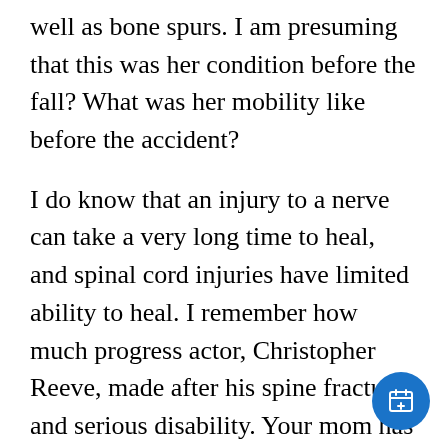well as bone spurs. I am presuming that this was her condition before the fall? What was her mobility like before the accident?
I do know that an injury to a nerve can take a very long time to heal, and spinal cord injuries have limited ability to heal. I remember how much progress actor, Christopher Reeve, made after his spine fracture and serious disability. Your mom has made some real progress. All spine patients are different and have different health issues in addition to being spine patients. We all heal at different rates, and if there is diabetes present it can affect the ability to heal and how well a
[Figure (other): Blue circular FAB button with a calendar/add icon in the bottom right corner]